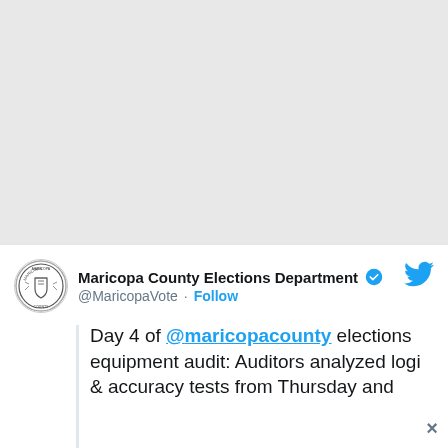[Figure (screenshot): Screenshot of a Twitter/social media post by Maricopa County Elections Department (@MaricopaVote) with a Follow button, verified badge, Twitter bird logo, and tweet text beginning: 'Day 4 of @maricopacounty elections equipment audit: Auditors analyzed logi & accuracy tests from Thursday and']